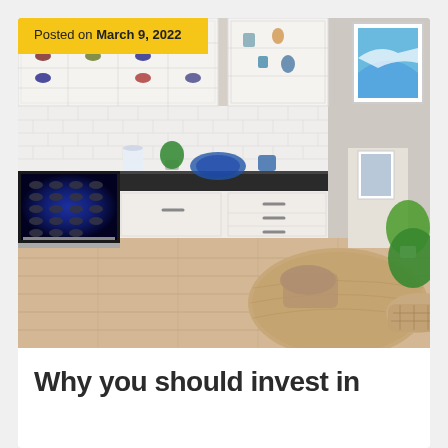[Figure (photo): Kitchen interior with white cabinets, black marble countertop, built-in wine refrigerator with blue LED lighting, white subway tile backsplash, glass-front upper cabinets with wine bottles, decorative blue plate and dishes, round wooden dining table in foreground, wicker chairs, green plant, framed coastal artwork on wall]
Posted on March 9, 2022
Why you should invest in